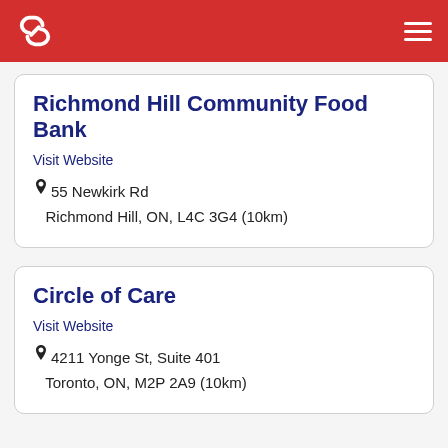Serving For All (header bar with logo and menu)
Richmond Hill Community Food Bank
Visit Website
55 Newkirk Rd
Richmond Hill, ON, L4C 3G4 (10km)
Circle of Care
Visit Website
4211 Yonge St, Suite 401
Toronto, ON, M2P 2A9 (10km)